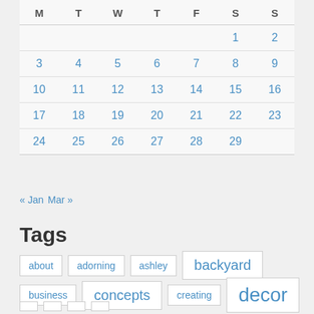| M | T | W | T | F | S | S |
| --- | --- | --- | --- | --- | --- | --- |
|  |  |  |  |  | 1 | 2 |
| 3 | 4 | 5 | 6 | 7 | 8 | 9 |
| 10 | 11 | 12 | 13 | 14 | 15 | 16 |
| 17 | 18 | 19 | 20 | 21 | 22 | 23 |
| 24 | 25 | 26 | 27 | 28 | 29 |  |
« Jan   Mar »
Tags
about  adorning  ashley  backyard
business  concepts  creating  decor